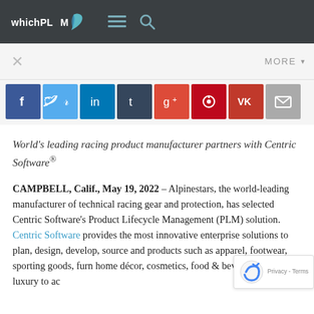whichPLM
[Figure (other): Social media share buttons row: Facebook (dark blue), Twitter (light blue), LinkedIn (blue), Tumblr (dark navy), Google+ (red-orange), Pinterest (dark red), VK (red), Email (gray)]
World's leading racing product manufacturer partners with Centric Software®
CAMPBELL, Calif., May 19, 2022 – Alpinestars, the world-leading manufacturer of technical racing gear and protection, has selected Centric Software's Product Lifecycle Management (PLM) solution. Centric Software provides the most innovative enterprise solutions to plan, design, develop, source and products such as apparel, footwear, sporting goods, furn home décor, cosmetics, food & beverage and luxury to ac